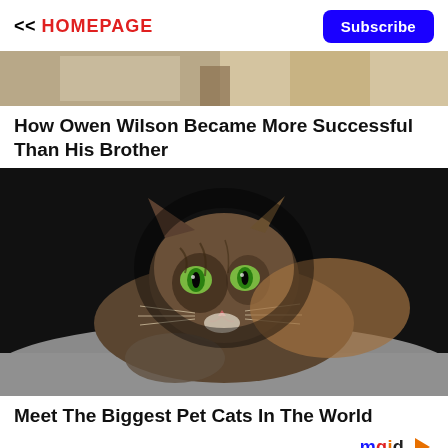<< HOMEPAGE
Subscribe
[Figure (photo): Partial top view of a person sitting in a chair, cropped teaser image]
How Owen Wilson Became More Successful Than His Brother
[Figure (photo): Close-up photo of a large exotic cat (Oriental or Abyssinian breed) with striking green eyes, resting on a gray surface against a dark background]
Meet The Biggest Pet Cats In The World
mgid